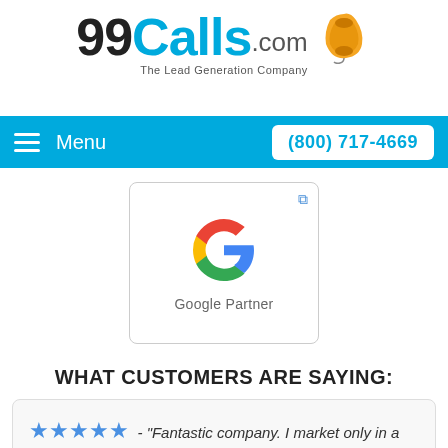[Figure (logo): 99Calls.com logo with yellow telephone icon and tagline 'The Lead Generation Company']
Menu   (800) 717-4669
[Figure (logo): Google Partner badge with Google G logo in a bordered box]
WHAT CUSTOMERS ARE SAYING:
★★★★★ - "Fantastic company. I market only in a small town and they maintain a solid 2-3 real jobs in my industry per month. This has been regular business